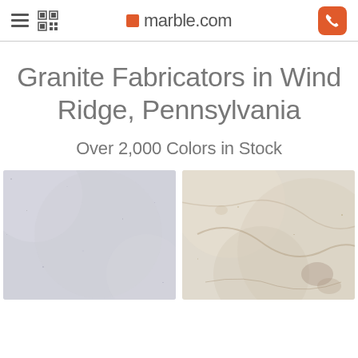marble.com
Granite Fabricators in Wind Ridge, Pennsylvania
Over 2,000 Colors in Stock
[Figure (photo): Light grey/white granite stone texture slab]
[Figure (photo): Beige/cream granite stone texture slab with brown veining]